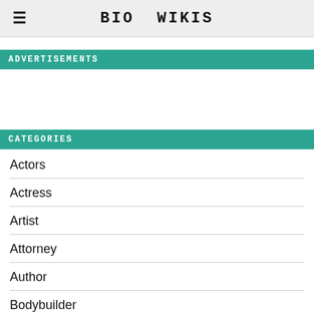BIO WIKIS
ADVERTISEMENTS
CATEGORIES
Actors
Actress
Artist
Attorney
Author
Bodybuilder
Celebrity